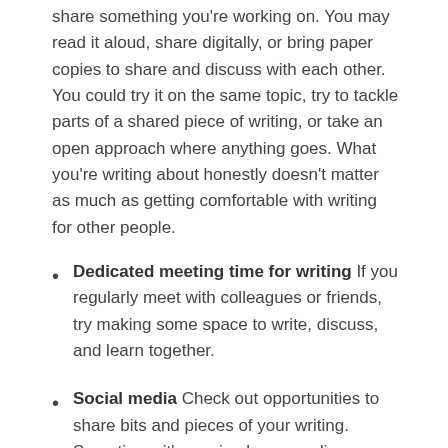share something you're working on. You may read it aloud, share digitally, or bring paper copies to share and discuss with each other. You could try it on the same topic, try to tackle parts of a shared piece of writing, or take an open approach where anything goes. What you're writing about honestly doesn't matter as much as getting comfortable with writing for other people.
Dedicated meeting time for writing If you regularly meet with colleagues or friends, try making some space to write, discuss, and learn together.
Social media Check out opportunities to share bits and pieces of your writing. Sometimes it's as simple as sending a screenshot or a photo of a